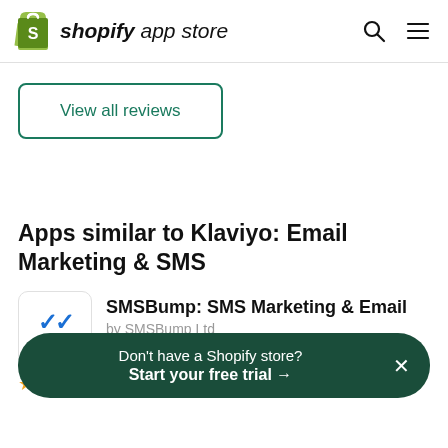shopify app store
View all reviews
Apps similar to Klaviyo: Email Marketing & SMS
[Figure (logo): SMSBump logo with blue double checkmarks and SMSBump text]
SMSBump: SMS Marketing & Email
by SMSBump Ltd
4.8 (2534)
Don't have a Shopify store? Start your free trial →